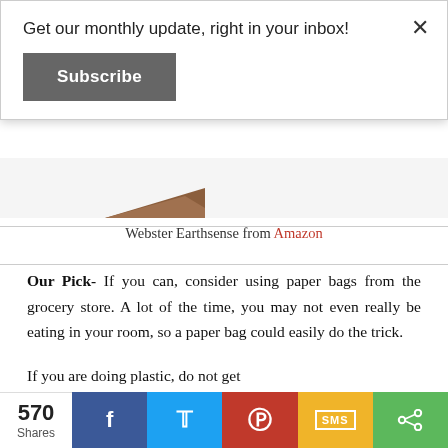Get our monthly update, right in your inbox!
Subscribe
[Figure (photo): Partial view of a wooden/brown object (grocery bag or container) visible at top of page behind the modal overlay]
Webster Earthsense from Amazon
Our Pick- If you can, consider using paper bags from the grocery store. A lot of the time, you may not even really be eating in your room, so a paper bag could easily do the trick.
If you are doing plastic, do not get
570 Shares